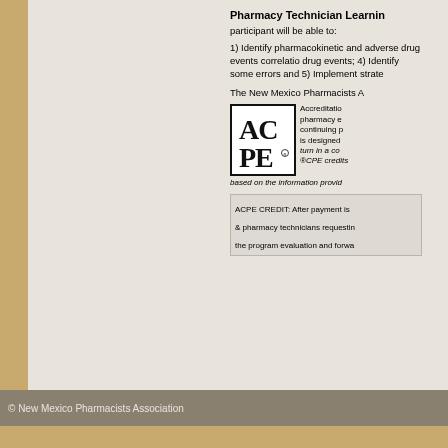Pharmacy Technician Learning
participant will be able to:
1) Identify pharmacokinetic and adverse drug events correlation drug events; 4) Identify some errors and 5) Implement strate
The New Mexico Pharmacists A
[Figure (logo): ACPE logo with AC over PE letters in bold serif font inside a black border square]
Accreditation pharmacy e continuing p is designed turn in a co CPE credits based on the information provid
ACPE CREDIT: After payment is & pharmacy technicians requesting the program evaluation and forwa
© New Mexico Pharmacists Association